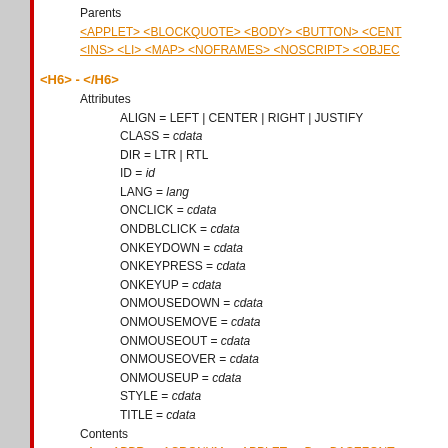Parents
<APPLET> <BLOCKQUOTE> <BODY> <BUTTON> <CENT... <INS> <LI> <MAP> <NOFRAMES> <NOSCRIPT> <OBJEC...
<H6> - </H6>
Attributes
ALIGN = LEFT | CENTER | RIGHT | JUSTIFY
CLASS = cdata
DIR = LTR | RTL
ID = id
LANG = lang
ONCLICK = cdata
ONDBLCLICK = cdata
ONKEYDOWN = cdata
ONKEYPRESS = cdata
ONKEYUP = cdata
ONMOUSEDOWN = cdata
ONMOUSEMOVE = cdata
ONMOUSEOUT = cdata
ONMOUSEOVER = cdata
ONMOUSEUP = cdata
STYLE = cdata
TITLE = cdata
Contents
<A> <ABBR> <ACRONYM> <APPLET> <B> <BASEFONT>... <EM> <FONT> <I> <IFRAME> <IMG> <INPUT> <KBD> <LA... <SELECT> <SMALL> <SPAN> <STRIKE> <STRONG> <SU... #PCDATA
Parents
<APPLET> <BLOCKQUOTE> <BODY> <BUTTON> <CENT... <INS> <LI> <MAP> <NOFRAMES> <NOSCRIPT> <OBJEC...